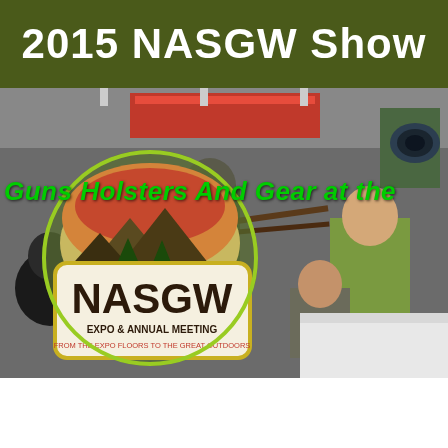2015 NASGW Show
[Figure (photo): Trade show floor photo with NASGW Expo & Annual Meeting logo overlay and green text reading 'Guns Holsters And Gear at the'. The NASGW logo features a circular design with mountains and trees, text 'NASGW EXPO & ANNUAL MEETING' and tagline 'FROM THE EXPO FLOORS TO THE GREAT OUTDOORS'.]